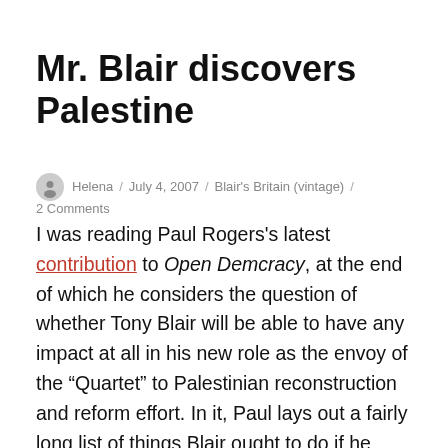Mr. Blair discovers Palestine
Helena / July 4, 2007 / Blair's Britain (vintage) / 2 Comments
I was reading Paul Rogers's latest contribution to Open Demcracy, at the end of which he considers the question of whether Tony Blair will be able to have any impact at all in his new role as the envoy of the “Quartet” to Palestinian reconstruction and reform effort. In it, Paul lays out a fairly long list of things Blair ought to do if he wants to succeed, including being “prepared to engage in around five years